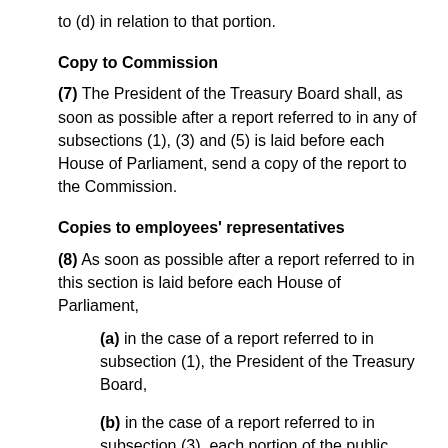to (d) in relation to that portion.
Copy to Commission
(7) The President of the Treasury Board shall, as soon as possible after a report referred to in any of subsections (1), (3) and (5) is laid before each House of Parliament, send a copy of the report to the Commission.
Copies to employees’ representatives
(8) As soon as possible after a report referred to in this section is laid before each House of Parliament,
(a) in the case of a report referred to in subsection (1), the President of the Treasury Board,
(b) in the case of a report referred to in subsection (3), each portion of the public sector referred to in that subsection, and